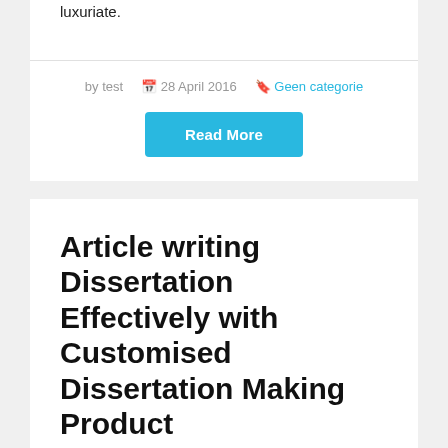luxuriate.
by test  28 April 2016  Geen categorie
Read More
Article writing Dissertation Effectively with Customised Dissertation Making Product
Article writing Dissertation Effectively with Customised Dissertation Making Product So, this is